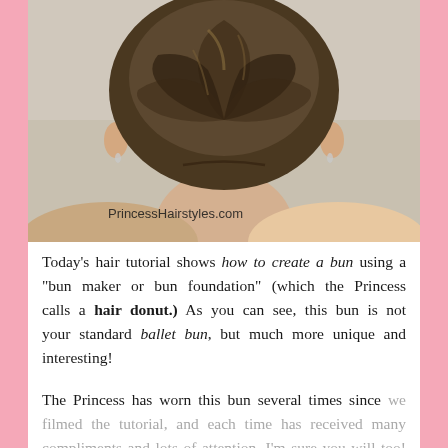[Figure (photo): Back view of a person with a bun hairstyle created using a hair donut/bun maker. The hair is twisted and pinned up. Watermark reads 'PrincessHairstyles.com' at the bottom of the photo.]
Today's hair tutorial shows how to create a bun using a "bun maker or bun foundation" (which the Princess calls a hair donut.) As you can see, this bun is not your standard ballet bun, but much more unique and interesting!
The Princess has worn this bun several times since we filmed the tutorial, and each time has received many compliments and lots of attention. I'm sure you will too! And, although this hairstyle looks